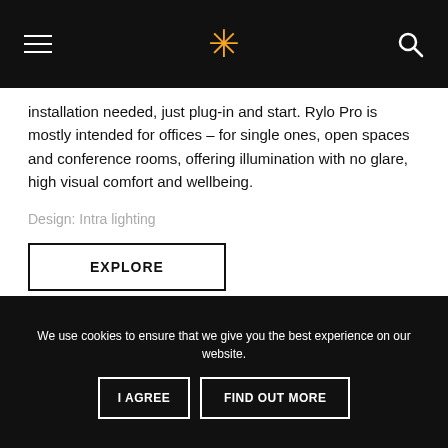Navigation header with hamburger menu, star logo, and search icon
installation needed, just plug-in and start. Rylo Pro is mostly intended for offices – for single ones, open spaces and conference rooms, offering illumination with no glare, high visual comfort and wellbeing.
Design: Intra lighting
EXPLORE
We use cookies to ensure that we give you the best experience on our website.
I AGREE
FIND OUT MORE